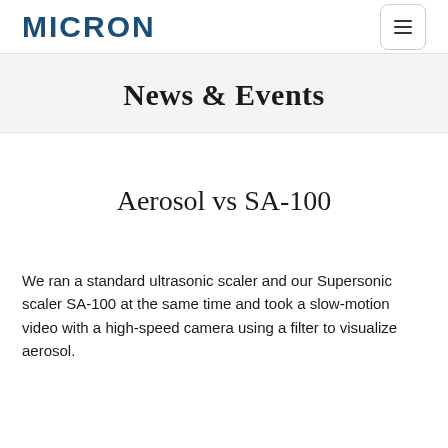MICRON
News & Events
Aerosol vs SA-100
We ran a standard ultrasonic scaler and our Supersonic scaler SA-100 at the same time and took a slow-motion video with a high-speed camera using a filter to visualize aerosol.